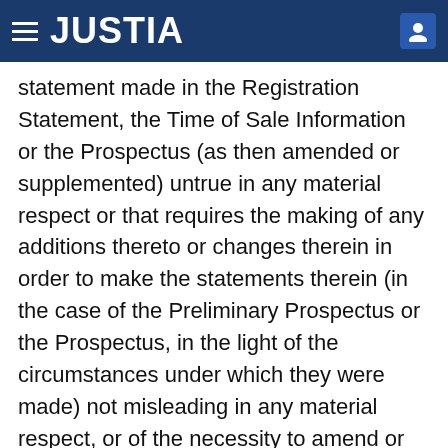JUSTIA
statement made in the Registration Statement, the Time of Sale Information or the Prospectus (as then amended or supplemented) untrue in any material respect or that requires the making of any additions thereto or changes therein in order to make the statements therein (in the case of the Preliminary Prospectus or the Prospectus, in the light of the circumstances under which they were made) not misleading in any material respect, or of the necessity to amend or supplement the Prospectus (as then amended or supplemented) to comply with the Act or any other applicable law. If at any time the Commission shall issue any stop order suspending the effectiveness of the Registration Statement, the Partnership Parties will make every reasonable effort to obtain the withdrawal or lifting of such order at the earliest possible time. The Partnership Parties will provide the Underwriters with copies of the form of